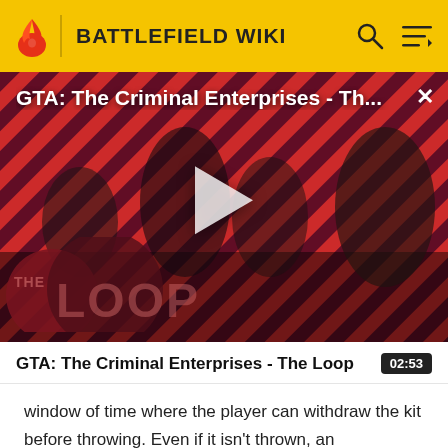BATTLEFIELD WIKI
[Figure (screenshot): Video thumbnail for 'GTA: The Criminal Enterprises - The Loop' showing game characters on a red diagonal striped background with THE LOOP branding overlay and a play button in the center]
GTA: The Criminal Enterprises - The Loop
02:53
window of time where the player can withdraw the kit before throwing. Even if it isn't thrown, an ammunition box quote will still play.